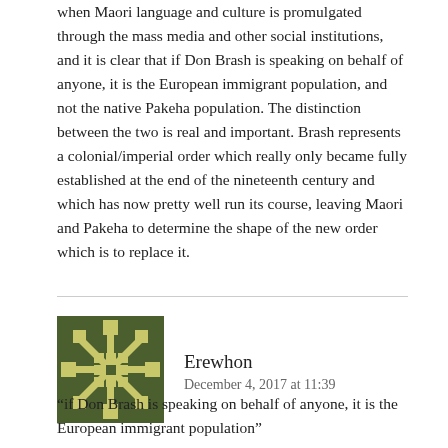when Maori language and culture is promulgated through the mass media and other social institutions, and it is clear that if Don Brash is speaking on behalf of anyone, it is the European immigrant population, and not the native Pakeha population. The distinction between the two is real and important. Brash represents a colonial/imperial order which really only became fully established at the end of the nineteenth century and which has now pretty well run its course, leaving Maori and Pakeha to determine the shape of the new order which is to replace it.
[Figure (illustration): Dark olive/green avatar icon with a geometric snowflake/asterisk pattern with small squares]
Erewhon
December 4, 2017 at 11:39
“if Don Brash is speaking on behalf of anyone, it is the European immigrant population”